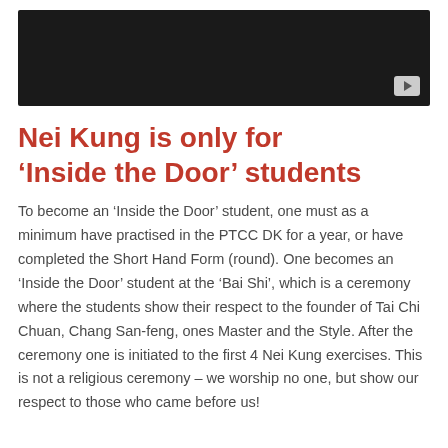[Figure (screenshot): Black video thumbnail with a play button in the bottom-right corner]
Nei Kung is only for ‘Inside the Door’ students
To become an ‘Inside the Door’ student, one must as a minimum have practised in the PTCC DK for a year, or have completed the Short Hand Form (round). One becomes an ‘Inside the Door’ student at the ‘Bai Shi’, which is a ceremony where the students show their respect to the founder of Tai Chi Chuan, Chang San-feng, ones Master and the Style. After the ceremony one is initiated to the first 4 Nei Kung exercises. This is not a religious ceremony – we worship no one, but show our respect to those who came before us!